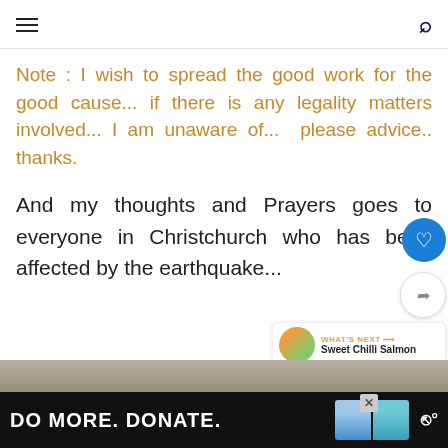Navigation header with hamburger menu and search icon
Note : I wish to spread the good work for the good cause... if there is any legality matters involved... I am unaware of... please advice.. thanks.
And my thoughts and Prayers goes to everyone in Christchurch who has been affected by the earthquake...
[Figure (photo): Landscape photo, partial view of outdoor scene with muted earth tones]
[Figure (infographic): DO MORE. DONATE. advertisement banner with two figures in blue tones on a dark background]